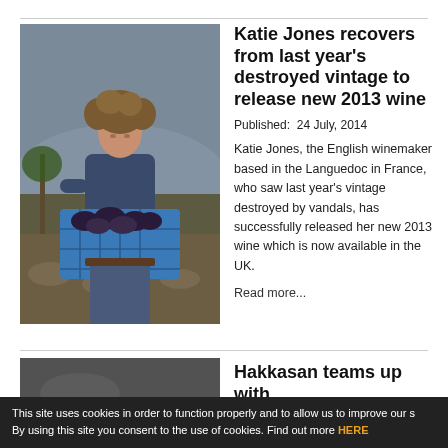[Figure (photo): Woman standing in a vineyard holding a blue crate filled with dark grapes, smiling at the camera. Background shows grapevines and a hazy mountain landscape.]
Katie Jones recovers from last year's destroyed vintage to release new 2013 wine
Published:  24 July, 2014
Katie Jones, the English winemaker based in the Languedoc in France, who saw last year's vintage destroyed by vandals, has successfully released her new 2013 wine which is now available in the UK.
Read more...
[Figure (photo): Partial photo - dark/dim image, beginning of second article]
Hakkasan teams up with
This site uses cookies in order to function properly and to allow us to improve our s By using this site you consent to the use of cookies. Find out more HERE